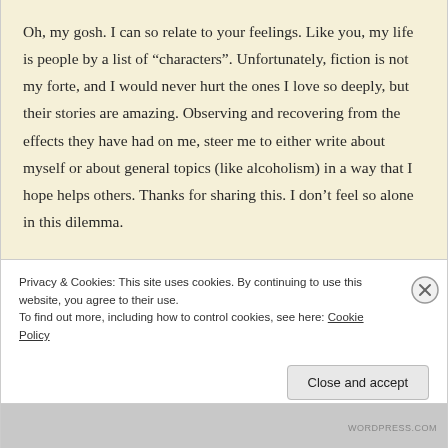Oh, my gosh. I can so relate to your feelings. Like you, my life is people by a list of “characters”. Unfortunately, fiction is not my forte, and I would never hurt the ones I love so deeply, but their stories are amazing. Observing and recovering from the effects they have had on me, steer me to either write about myself or about general topics (like alcoholism) in a way that I hope helps others. Thanks for sharing this. I don’t feel so alone in this dilemma.
Privacy & Cookies: This site uses cookies. By continuing to use this website, you agree to their use.
To find out more, including how to control cookies, see here: Cookie Policy
Close and accept
WORDPRESS.COM